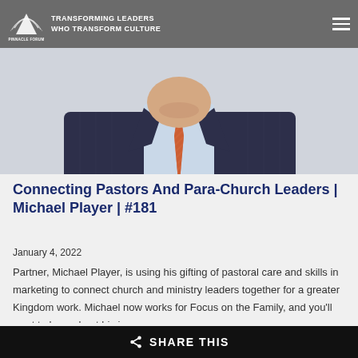PINNACLE FORUM — TRANSFORMING LEADERS WHO TRANSFORM CULTURE
[Figure (photo): Man in dark pinstripe suit with orange/red patterned tie and light blue dress shirt, head slightly bowed, photo cropped at shoulders/neck]
Connecting Pastors And Para-Church Leaders | Michael Player | #181
January 4, 2022
Partner, Michael Player, is using his gifting of pastoral care and skills in marketing to connect church and ministry leaders together for a greater Kingdom work. Michael now works for Focus on the Family, and you'll want to hear about his journey...
SHARE THIS